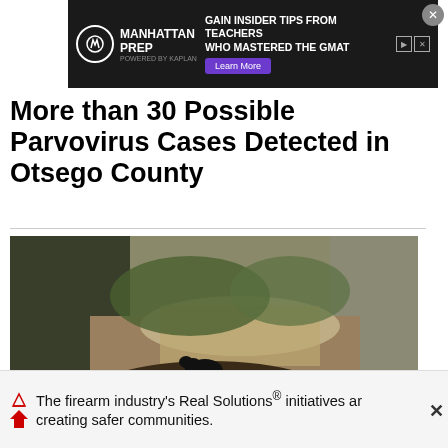[Figure (screenshot): Advertisement banner for Manhattan Prep GMAT preparation course with text 'GAIN INSIDER TIPS FROM TEACHERS WHO MASTERED THE GMAT' and a 'Learn More' button]
More than 30 Possible Parvovirus Cases Detected in Otsego County
[Figure (photo): A black dog walking along a muddy path or creek bed surrounded by green vegetation and large mounds of dirt or soil]
The firearm industry's Real Solutions® initiatives ar creating safer communities.